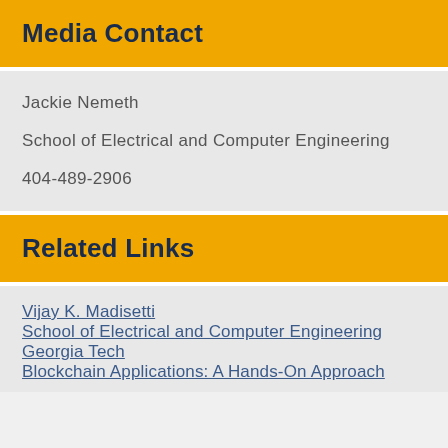Media Contact
Jackie Nemeth
School of Electrical and Computer Engineering
404-489-2906
Related Links
Vijay K. Madisetti
School of Electrical and Computer Engineering
Georgia Tech
Blockchain Applications: A Hands-On Approach